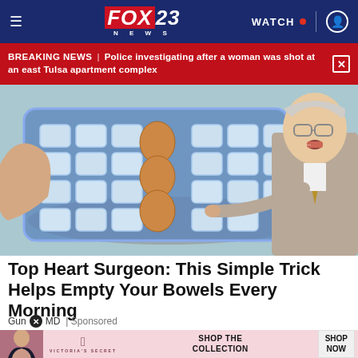FOX23 NEWS — WATCH
BREAKING NEWS | Police investigating after a woman was shot at an east Tulsa apartment complex
[Figure (photo): A hand holding a bag of ice cubes with three brown eggs resting on the ice, and an older male doctor in a suit pointing at the eggs/ice on the right side.]
Top Heart Surgeon: This Simple Trick Helps Empty Your Bowels Every Morning
Gundry MD | Sponsored
[Figure (photo): Victoria's Secret advertisement banner: woman photo on left, VS logo in center, 'SHOP THE COLLECTION' text, and 'SHOP NOW' button on right.]